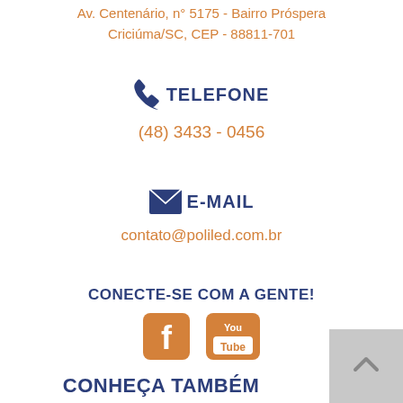Av. Centenário, n° 5175 - Bairro Próspera
Criciúma/SC, CEP - 88811-701
TELEFONE
(48) 3433 - 0456
E-MAIL
contato@poliled.com.br
CONECTE-SE COM A GENTE!
[Figure (logo): Facebook and YouTube social media icons]
CONHEÇA TAMBÉM